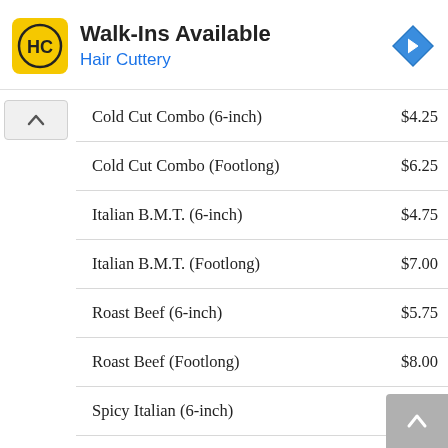[Figure (logo): Hair Cuttery advertisement banner with HC logo, 'Walk-Ins Available' title, 'Hair Cuttery' subtitle in blue, and a blue navigation diamond icon on the right]
| Item | Price |
| --- | --- |
| Cold Cut Combo (6-inch) | $4.25 |
| Cold Cut Combo (Footlong) | $6.25 |
| Italian B.M.T. (6-inch) | $4.75 |
| Italian B.M.T. (Footlong) | $7.00 |
| Roast Beef (6-inch) | $5.75 |
| Roast Beef (Footlong) | $8.00 |
| Spicy Italian (6-inch) | $4.25 |
| Spicy Italian (Footlong) | $6.00 |
| Subway Club (6-inch) | $5.75 |